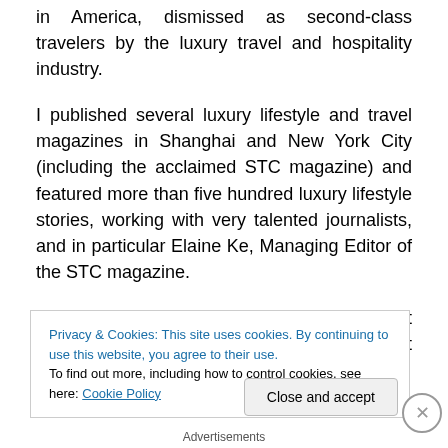in America, dismissed as second-class travelers by the luxury travel and hospitality industry.
I published several luxury lifestyle and travel magazines in Shanghai and New York City (including the acclaimed STC magazine) and featured more than five hundred luxury lifestyle stories, working with very talented journalists, and in particular Elaine Ke, Managing Editor of the STC magazine.
I have given speeches and lectures about international luxury travel marketing at Universities and at corporate
Privacy & Cookies: This site uses cookies. By continuing to use this website, you agree to their use.
To find out more, including how to control cookies, see here: Cookie Policy
Close and accept
Advertisements